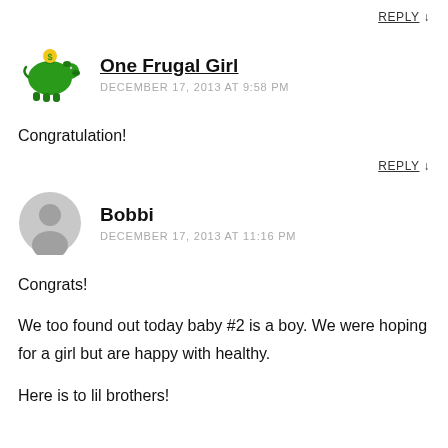REPLY ↓
[Figure (illustration): Green piggy bank avatar icon with a dollar sign coin on top]
One Frugal Girl
DECEMBER 17, 2013 AT 9:58 PM
Congratulation!
REPLY ↓
[Figure (illustration): Gray default user avatar icon (circle with person silhouette)]
Bobbi
DECEMBER 17, 2013 AT 11:16 PM
Congrats!
We too found out today baby #2 is a boy. We were hoping for a girl but are happy with healthy.
Here is to lil brothers!